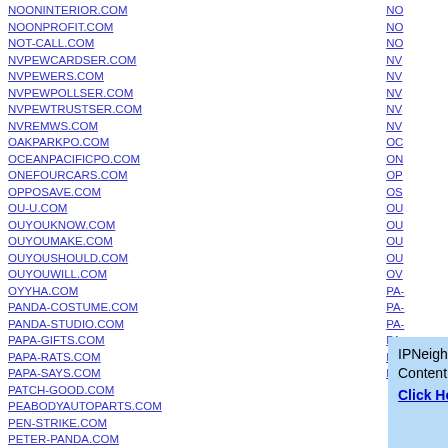NOONINTERIOR.COM
NOONPROFIT.COM
NOT-CALL.COM
NVPEWCARDSER.COM
NVPEWERS.COM
NVPEWPOLLSER.COM
NVPEWTRUSTSER.COM
NVREMWS.COM
OAKPARKPO.COM
OCEANPACIFICPO.COM
ONEFOURCARS.COM
OPPOSAVE.COM
OU-U.COM
OUYOUKNOW.COM
OUYOUMAKE.COM
OUYOUSHOULD.COM
OUYOUWILL.COM
OYYHA.COM
PANDA-COSTUME.COM
PANDA-STUDIO.COM
PAPA-GIFTS.COM
PAPA-RATS.COM
PAPA-SAYS.COM
PATCH-GOOD.COM
PEABODYAUTOPARTS.COM
PEN-STRIKE.COM
PETER-PANDA.COM
PIG-DOG.COM
[Figure (infographic): IPNeighbor.com Domain and Content for Sale. Make Offer. Click Here for Info — advertisement box with light blue background]